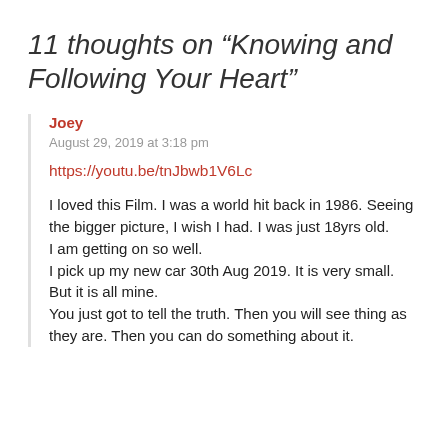11 thoughts on “Knowing and Following Your Heart”
Joey
August 29, 2019 at 3:18 pm
https://youtu.be/tnJbwb1V6Lc
I loved this Film. I was a world hit back in 1986. Seeing the bigger picture, I wish I had. I was just 18yrs old.
I am getting on so well.
I pick up my new car 30th Aug 2019. It is very small. But it is all mine.
You just got to tell the truth. Then you will see thing as they are. Then you can do something about it.